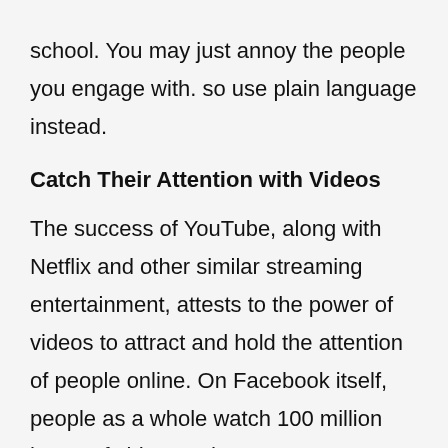school. You may just annoy the people you engage with. so use plain language instead.
Catch Their Attention with Videos
The success of YouTube, along with Netflix and other similar streaming entertainment, attests to the power of videos to attract and hold the attention of people online. On Facebook itself, people as a whole watch 100 million hours of videos a day. Surveys regularly show that if people are given a choice between reading text and watching a video to learn about a product or a service, they'll choose video 3 out of 4 instances.